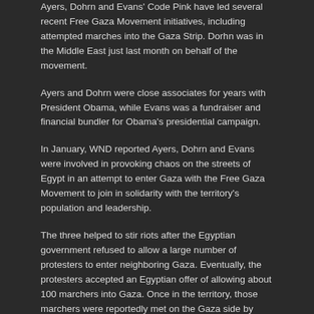Ayers, Dohrn and Evans' Code Pink have led several recent Free Gaza Movement initiatives, including attempted marches into the Gaza Strip. Dorhn was in the Middle East just last month on behalf of the movement.
Ayers and Dohrn were close associates for years with President Obama, while Evans was a fundraiser and financial bundler for Obama's presidential campaign.
In January, WND reported Ayers, Dohrn and Evans were involved in provoking chaos on the streets of Egypt in an attempt to enter Gaza with the Free Gaza Movement to join in solidarity with the territory's population and leadership.
The three helped to stir riots after the Egyptian government refused to allow a large number of protesters to enter neighboring Gaza. Eventually, the protesters accepted an Egyptian offer of allowing about 100 marchers into Gaza. Once in the territory, those marchers were reportedly met on the Gaza side by Hamas' former Prime Minister Ismail Haniyah.